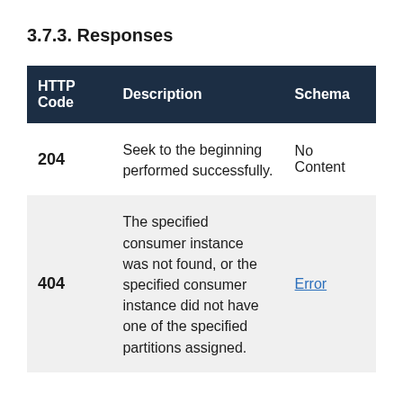3.7.3. Responses
| HTTP Code | Description | Schema |
| --- | --- | --- |
| 204 | Seek to the beginning performed successfully. | No Content |
| 404 | The specified consumer instance was not found, or the specified consumer instance did not have one of the specified partitions assigned. | Error |